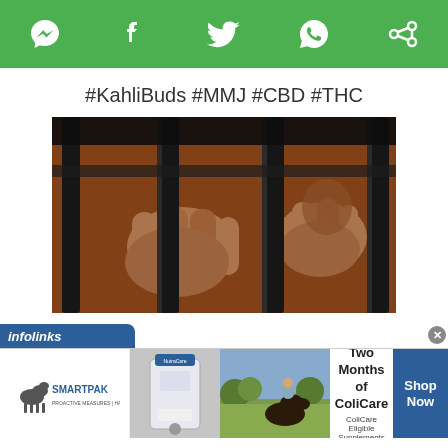[Figure (screenshot): Green social media share bar with messenger, facebook, twitter, whatsapp, and share icons]
#KahliBuds #MMJ #CBD #THC
[Figure (photo): Hands gripping prison bars, person wearing orange jumpsuit visible behind bars]
[Figure (screenshot): Infolinks advertisement banner featuring SmartPak brand with horse care product, 50% Off Two Months of ColiCare promotion, ColiCare Eligible Supplements, CODE: COLICARE10, Shop Now button]